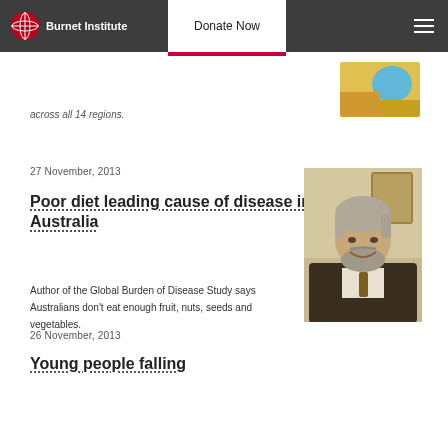Burnet Institute | Donate Now
across all 14 regions.
27 November, 2013
Poor diet leading cause of disease in Australia
Author of the Global Burden of Disease Study says Australians don't eat enough fruit, nuts, seeds and vegetables.
[Figure (photo): Portrait photo of a middle-aged man with grey hair and beard, wearing a dark jacket and tie, smiling indoors.]
26 November, 2013
Young people falling